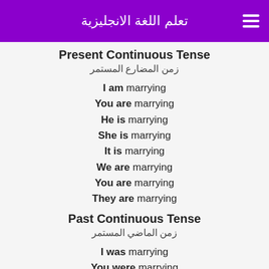تعلم اللغة الانجليزية
Present Continuous Tense
زمن المضارع المستمر
I am marrying
You are marrying
He is marrying
She is marrying
It is marrying
We are marrying
You are marrying
They are marrying
Past Continuous Tense
زمن الماضي المستمر
I was marrying
You were marrying
He was marrying
She was marrying